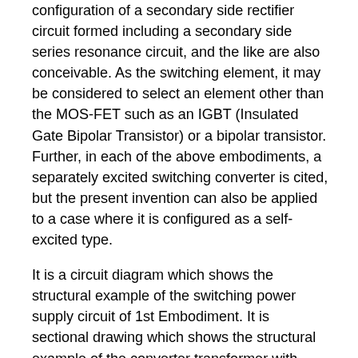configuration of a secondary side rectifier circuit formed including a secondary side series resonance circuit, and the like are also conceivable. As the switching element, it may be considered to select an element other than the MOS-FET such as an IGBT (Insulated Gate Bipolar Transistor) or a bipolar transistor. Further, in each of the above embodiments, a separately excited switching converter is cited, but the present invention can also be applied to a case where it is configured as a self-excited type.
It is a circuit diagram which shows the structural example of the switching power supply circuit of 1st Embodiment. It is sectional drawing which shows the structural example of the converter transformer with which the switching power supply circuit of embodiment is provided. It is a wave form diagram which shows operation | movement of the principal part in the power supply circuit of 1st Embodiment by a commercial alternating current power supply period. It is a figure which shows the characteristic of the rectification | straightening voltage, power factor, and power conversion efficiency with respect to load fluctuation | variation about the power supply circuit of 1st Embodiment. It is a figure which shows the characteristic